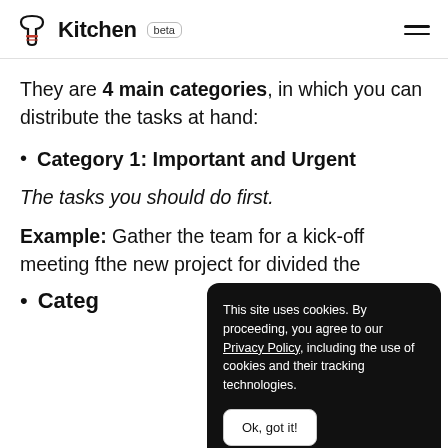Kitchen beta
They are 4 main categories, in which you can distribute the tasks at hand:
Category 1: Important and Urgent
The tasks you should do first.
Example: Gather the team for a kick-off meeting [for a] new proj[ect...] divided t[he...]
Categ[ory 2: ...]
This site uses cookies. By proceeding, you agree to our Privacy Policy, including the use of cookies and their tracking technologies. Ok, got it!